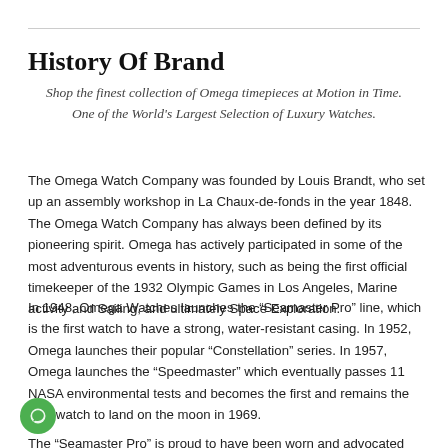History Of Brand
Shop the finest collection of Omega timepieces at Motion in Time. One of the World's Largest Selection of Luxury Watches.
The Omega Watch Company was founded by Louis Brandt, who set up an assembly workshop in La Chaux-de-fonds in the year 1848. The Omega Watch Company has always been defined by its pioneering spirit. Omega has actively participated in some of the most adventurous events in history, such as being the first official timekeeper of the 1932 Olympic Games in Los Angeles, Marine activity and Sailing, and ultimately Space Exploration.
In 1948, Omega Watches launches the “Seamaster Pro” line, which is the first watch to have a strong, water-resistant casing. In 1952, Omega launches their popular “Constellation” series. In 1957, Omega launches the “Speedmaster” which eventually passes 11 NASA environmental tests and becomes the first and remains the only watch to land on the moon in 1969.
The “Seamaster Pro” is proud to have been worn and advocated